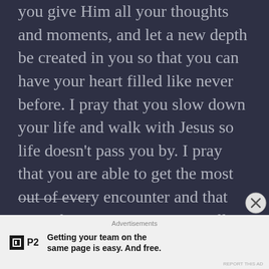you give Him all your thoughts and moments, and let a new depth be created in you so that you can have your heart filled like never before. I pray that you slow down your life and walk with Jesus so life doesn't pass you by. I pray that you are able to get the most out of every encounter and that everything you experience will remind you of your potential, your purpose, and how loved you are. Thank you so much everyone. As always, much love.
Advertisements
Getting your team on the same page is easy. And free.